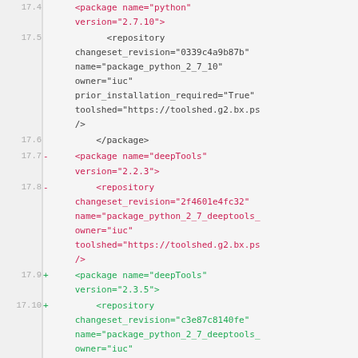[Figure (screenshot): Code diff view showing XML tool dependency configuration lines 17.4 through 17.12, with red lines (removals) and green lines (additions) in a monospace code viewer with line numbers.]